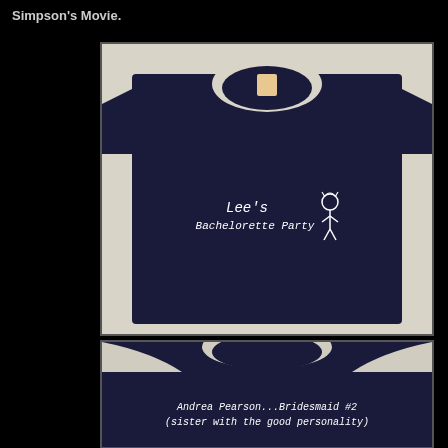Simpson's Movie.
[Figure (photo): Front of a dark navy blue t-shirt with white text reading "Lee's Bachelorette Party" and a small stick figure character drawn on the right side. A clothing tag is visible at the neckline.]
[Figure (photo): Back of a dark navy blue t-shirt with white italic text reading "Andrea Pearson...Bridesmaid #2 (sister with the good personality)"]